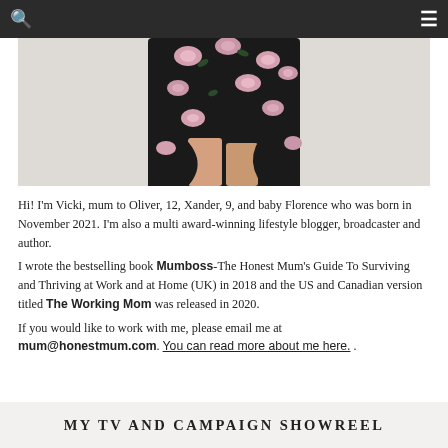navigation bar with search and menu icons
[Figure (photo): Partial view of a person wearing a black floral dress with pink roses, showing lower torso and legs against a light grey/white background.]
Hi! I'm Vicki, mum to Oliver, 12, Xander, 9, and baby Florence who was born in November 2021. I'm also a multi award-winning lifestyle blogger, broadcaster and author.
I wrote the bestselling book Mumboss-The Honest Mum's Guide To Surviving and Thriving at Work and at Home (UK) in 2018 and the US and Canadian version titled The Working Mom was released in 2020.
If you would like to work with me, please email me at mum@honestmum.com. You can read more about me here. .
MY TV AND CAMPAIGN SHOWREEL